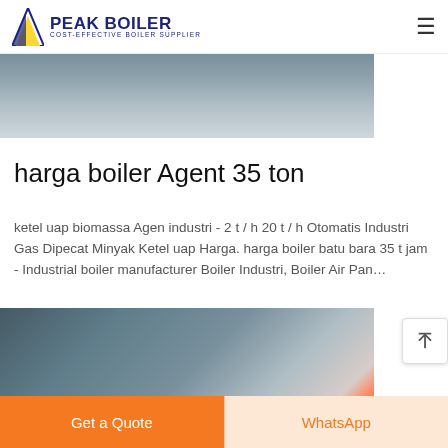PEAK BOILER — COST-EFFECTIVE BOILER SUPPLIER
[Figure (photo): Industrial machinery top image — waterjet or CNC cutting machine in a factory setting]
harga boiler Agent 35 ton
ketel uap biomassa Agen industri - 2 t / h 20 t / h Otomatis Industri Gas Dipecat Minyak Ketel uap Harga. harga boiler batu bara 35 t jam - Industrial boiler manufacturer Boiler Industri, Boiler Air Pan…
[Figure (photo): Industrial boiler room with large blue cylindrical boilers, orange and red pipes, and stainless steel equipment]
Get a Quote
WhatsApp